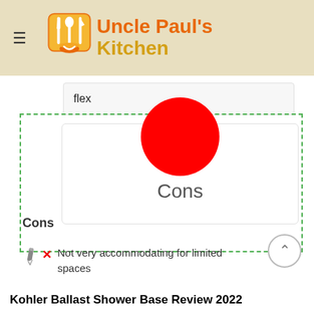Uncle Paul's Kitchen
flex
[Figure (illustration): Red circle above a white card with 'Cons' text centered, inside a green dashed border region]
Cons
Cons
Not very accommodating for limited spaces
Kohler Ballast Shower Base Review 2022